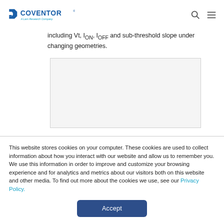Coventor – A Lam Research Company
including Vt, ION, IOFF and sub-threshold slope under changing geometries.
[Figure (other): Image placeholder / screenshot area, light grey box]
This website stores cookies on your computer. These cookies are used to collect information about how you interact with our website and allow us to remember you. We use this information in order to improve and customize your browsing experience and for analytics and metrics about our visitors both on this website and other media. To find out more about the cookies we use, see our Privacy Policy.